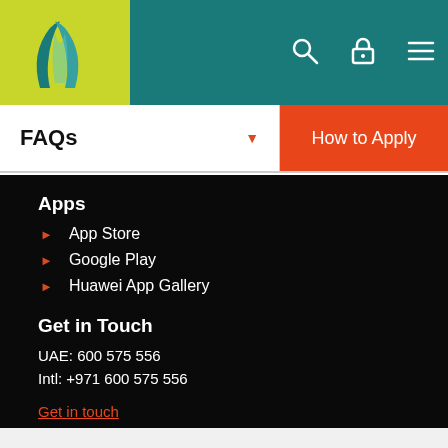[Figure (logo): University/institution logo with teal arch shapes on lime green background]
FAQs  |  How to Apply
Apps
App Store
Google Play
Huawei App Gallery
Get in Touch
UAE: 600 575 556
Intl: +971 600 575 556
Get in touch